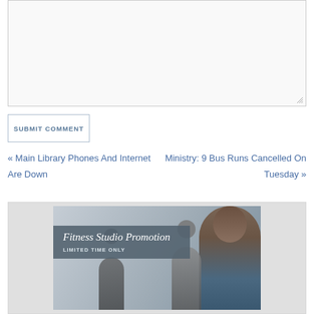[Figure (other): Comment textarea input box with resize handle in bottom-right corner]
SUBMIT COMMENT
« Main Library Phones And Internet Are Down
Ministry: 9 Bus Runs Cancelled On Tuesday »
[Figure (photo): Fitness Studio Promotion advertisement showing a group of people in a fitness studio. Text overlay reads 'Fitness Studio Promotion LIMITED TIME ONLY']